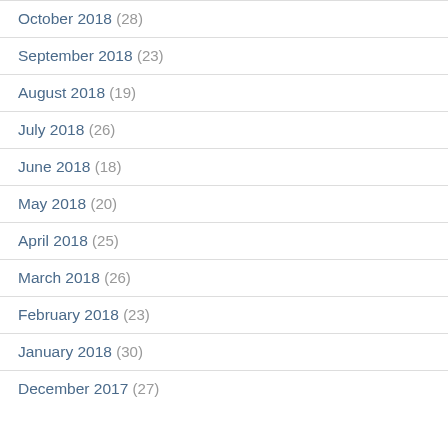October 2018 (28)
September 2018 (23)
August 2018 (19)
July 2018 (26)
June 2018 (18)
May 2018 (20)
April 2018 (25)
March 2018 (26)
February 2018 (23)
January 2018 (30)
December 2017 (27)